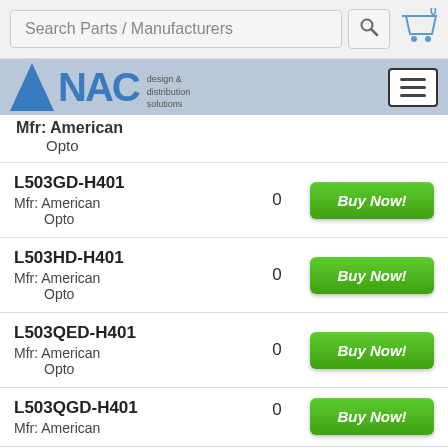[Figure (screenshot): Search bar with 'Search Parts / Manufacturers' placeholder text, a magnifying glass icon, and a shopping cart icon with badge showing 0]
[Figure (logo): NAC design & distribution solutions logo with blue triangle and text, plus hamburger menu button]
| Part | Stock | Action |
| --- | --- | --- |
| (partial) Mfr: American Opto |  |  |
| L503GD-H401
Mfr: American Opto | 0 | Buy Now! |
| L503HD-H401
Mfr: American Opto | 0 | Buy Now! |
| L503QED-H401
Mfr: American Opto | 0 | Buy Now! |
| L503QGD-H401
Mfr: American (partial) | 0 | Buy Now! |